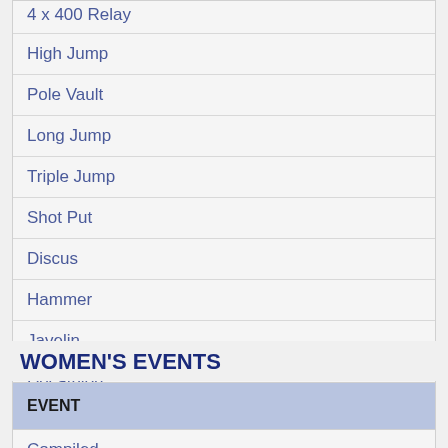| Event |
| --- |
| 4 x 400 Relay |
| High Jump |
| Pole Vault |
| Long Jump |
| Triple Jump |
| Shot Put |
| Discus |
| Hammer |
| Javelin |
| Decathlon |
WOMEN'S EVENTS
| EVENT |
| --- |
| Compiled |